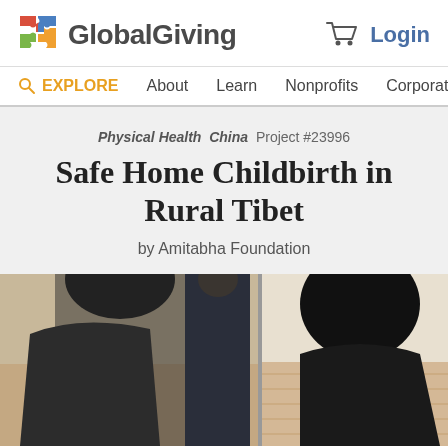GlobalGiving — Login
EXPLORE  About  Learn  Nonprofits  Corporate
Physical Health  China  Project #23996
Safe Home Childbirth in Rural Tibet
by Amitabha Foundation
[Figure (photo): Photo showing two people from behind in what appears to be an indoor setting with wooden flooring visible in the background.]